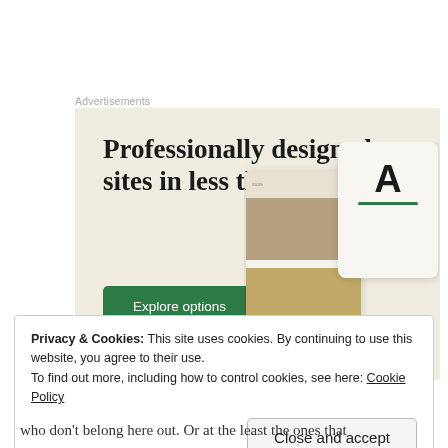Advertisements
[Figure (screenshot): Web advertisement for a website design service on a beige/cream background. Large serif headline text reads 'Professionally designed sites in less than a week'. A green button labeled 'Explore options' is shown. On the right side are mockup screenshots of websites on devices.]
Privacy & Cookies: This site uses cookies. By continuing to use this website, you agree to their use.
To find out more, including how to control cookies, see here: Cookie Policy
Close and accept
who don't belong here out. Or at the least the ones that